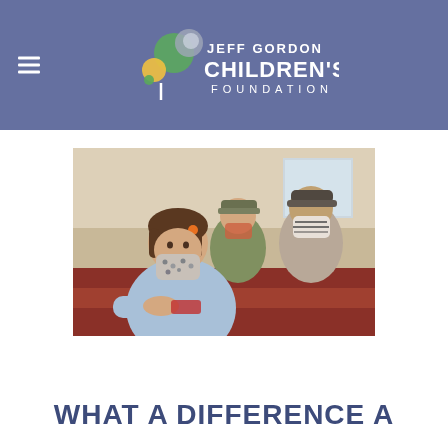Jeff Gordon Children's Foundation
[Figure (photo): Photo of children wearing face masks sitting at a table in what appears to be a medical or waiting room setting. A young girl in a blue long-sleeve shirt with a patterned mask is in the foreground, with two other children wearing caps and masks visible behind her.]
WHAT A DIFFERENCE A